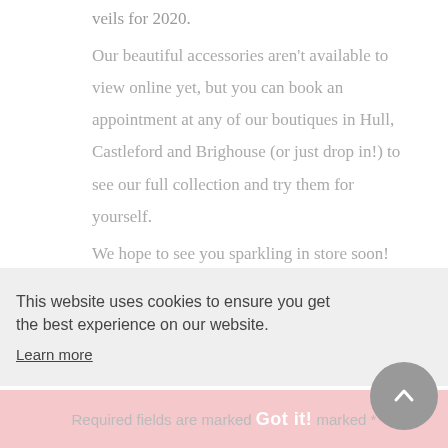veils for 2020.
Our beautiful accessories aren't available to view online yet, but you can book an appointment at any of our boutiques in Hull, Castleford and Brighouse (or just drop in!) to see our full collection and try them for yourself.
We hope to see you sparkling in store soon!
Share
Leave a Reply
Your email address will not be published.
Required fields are marked *
This website uses cookies to ensure you get the best experience on our website.
Learn more
Got it!